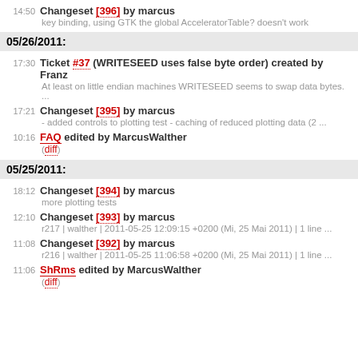14:50 Changeset [396] by marcus
key binding, using GTK the global AcceleratorTable? doesn't work
05/26/2011:
17:30 Ticket #37 (WRITESEED uses false byte order) created by Franz
At least on little endian machines WRITESEED seems to swap data bytes. ...
17:21 Changeset [395] by marcus
- added controls to plotting test - caching of reduced plotting data (2 ...
10:16 FAQ edited by MarcusWalther
(diff)
05/25/2011:
18:12 Changeset [394] by marcus
more plotting tests
12:10 Changeset [393] by marcus
r217 | walther | 2011-05-25 12:09:15 +0200 (Mi, 25 Mai 2011) | 1 line ...
11:08 Changeset [392] by marcus
r216 | walther | 2011-05-25 11:06:58 +0200 (Mi, 25 Mai 2011) | 1 line ...
11:06 ShRms edited by MarcusWalther
(diff)